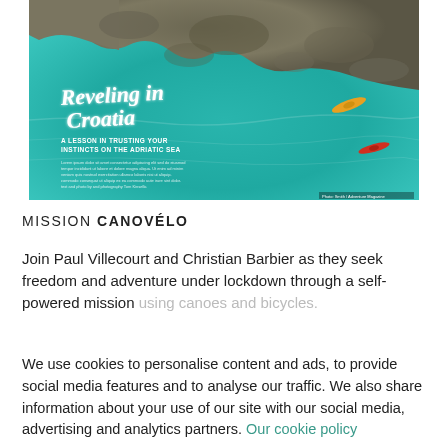[Figure (photo): Aerial photo of Croatia coastline with turquoise Adriatic water and rocky shore. Two kayakers visible. Overlay text reads 'Reveling in Croatia — A Lesson in Trusting Your Instincts on the Adriatic Sea'.]
MISSION CANOVÉLO
Join Paul Villecourt and Christian Barbier as they seek freedom and adventure under lockdown through a self-powered mission using canoes and bicycles.
We use cookies to personalise content and ads, to provide social media features and to analyse our traffic. We also share information about your use of our site with our social media, advertising and analytics partners. Our cookie policy